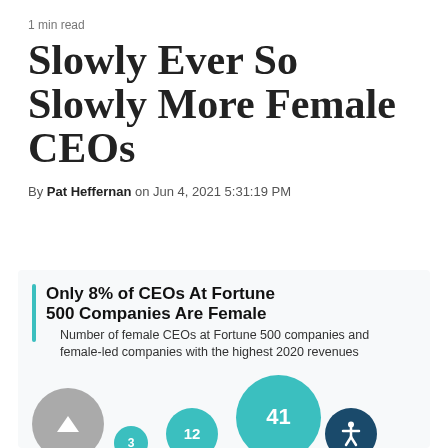1 min read
Slowly Ever So Slowly More Female CEOs
By Pat Heffernan on Jun 4, 2021 5:31:19 PM
[Figure (infographic): Infographic box with teal left bar, bold title 'Only 8% of CEOs At Fortune 500 Companies Are Female', subtitle 'Number of female CEOs at Fortune 500 companies and female-led companies with the highest 2020 revenues', and bubble chart showing circles labeled 3, 12, 41 in increasing size in teal, plus a gray back-arrow circle and a dark blue accessibility icon circle.]